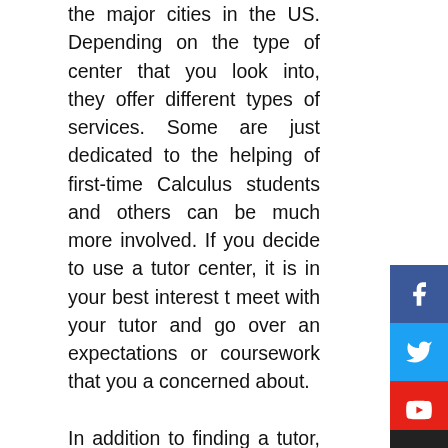the major cities in the US. Depending on the type of center that you look into, they offer different types of services. Some are just dedicated to the helping of first-time Calculus students and others can be much more involved. If you decide to use a tutor center, it is in your best interest to meet with your tutor and go over any expectations or coursework that you are concerned about.
In addition to finding a tutor, you may also need to consider taking tests from time to time. This will allow you to get an idea of what the test will be like and what type of questions you will likely have to answer. Although these tests generally won't be the same as the questions on the test, the answers that you come up with will still be based largely off of your knowledge of Calculus.